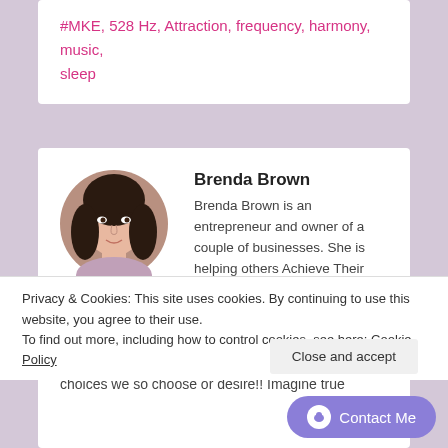#MKE, 528 Hz, Attraction, frequency, harmony, music, sleep
[Figure (photo): Circular portrait photo of Brenda Brown, a woman with dark hair]
Brenda Brown
Brenda Brown is an entrepreneur and owner of a couple of businesses. She is helping others Achieve Their Goals and Follow their dreams. Let me help you get to your goals, come join me and together we can create an everyday lifestyle that radiates wellness and freedom to make lifestyle choices we so choose or desire!! Imagine true
Privacy & Cookies: This site uses cookies. By continuing to use this website, you agree to their use.
To find out more, including how to control cookies, see here: Cookie Policy
Close and accept
Contact Me